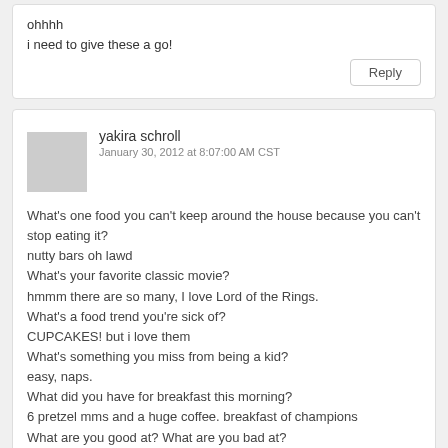ohhhh
i need to give these a go!
Reply
yakira schroll
January 30, 2012 at 8:07:00 AM CST
What's one food you can't keep around the house because you can't stop eating it?
nutty bars oh lawd
What's your favorite classic movie?
hmmm there are so many, I love Lord of the Rings.
What's a food trend you're sick of?
CUPCAKES! but i love them
What's something you miss from being a kid?
easy, naps.
What did you have for breakfast this morning?
6 pretzel mms and a huge coffee. breakfast of champions
What are you good at? What are you bad at?
Good at painting and running, bad at math ov